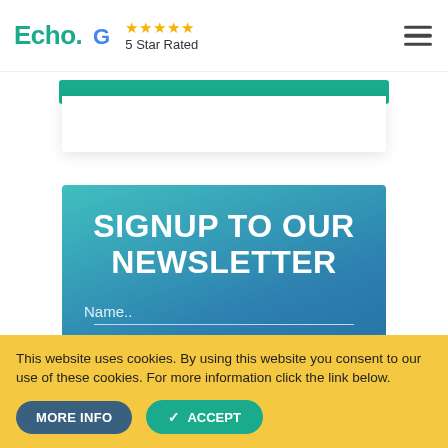Echo. [Google logo] ★★★★★ 5 Star Rated
[Figure (screenshot): Partial teal button strip and white card background visible below nav bar]
SIGNUP TO OUR NEWSLETTER
Name..
Email..
This website uses cookies. By using this website you consent to our use of these cookies. For more information click the link below.
MORE INFO
ACCEPT